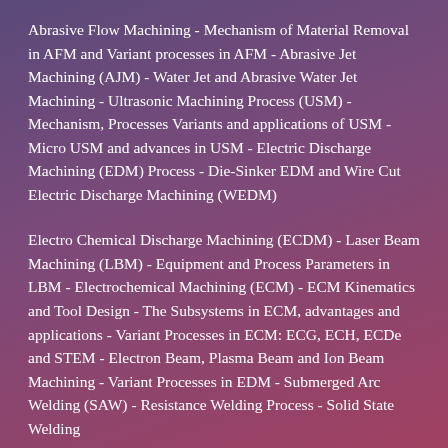Abrasive Flow Machining - Mechanism of Material Removal in AFM and Variant processes in AFM - Abrasive Jet Machining (AJM) - Water Jet and Abrasive Water Jet Machining - Ultrasonic Machining Process (USM) - Mechanism, Processes Variants and applications of USM - Micro USM and advances in USM - Electric Discharge Machining (EDM) Process - Die-Sinker EDM and Wire Cut Electric Discharge Machining (WEDM)
Electro Chemical Discharge Machining (ECDM) - Laser Beam Machining (LBM) - Equipment and Process Parameters in LBM - Electrochemical Machining (ECM) - ECM Kinematics and Tool Design - The Subsystems in ECM, advantages and applications - Variant Processes in ECM: ECG, ECH, ECDe and STEM - Electron Beam, Plasma Beam and Ion Beam Machining - Variant Processes in EDM - Submerged Arc Welding (SAW) - Resistance Welding Process - Solid State Welding